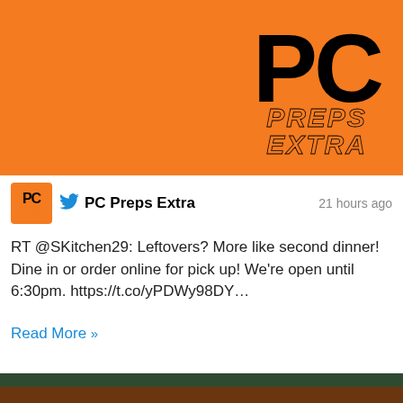[Figure (logo): PC Preps Extra logo on orange banner header background]
PC Preps Extra · 21 hours ago
RT @SKitchen29: Leftovers? More like second dinner! Dine in or order online for pick up! We're open until 6:30pm. https://t.co/yPDWy98DY…
Read More »
[Figure (photo): Photo of a BBQ food spread on a metal tray with ribs, brisket, sides including coleslaw, mac and cheese, beans, and pickles, with a person in green in the background]